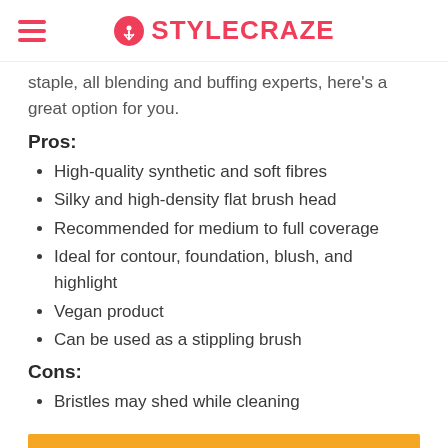STYLECRAZE
staple, all blending and buffing experts, here's a great option for you.
Pros:
High-quality synthetic and soft fibres
Silky and high-density flat brush head
Recommended for medium to full coverage
Ideal for contour, foundation, blush, and highlight
Vegan product
Can be used as a stippling brush
Cons:
Bristles may shed while cleaning